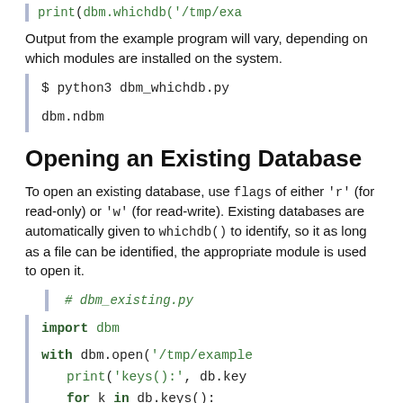print(dbm.whichdb('/tmp/exa…
Output from the example program will vary, depending on which modules are installed on the system.
$ python3 dbm_whichdb.py

dbm.ndbm
Opening an Existing Database
To open an existing database, use flags of either 'r' (for read-only) or 'w' (for read-write). Existing databases are automatically given to whichdb() to identify, so it as long as a file can be identified, the appropriate module is used to open it.
# dbm_existing.py

import dbm

with dbm.open('/tmp/example
    print('keys():', db.key
    for k in db.keys():